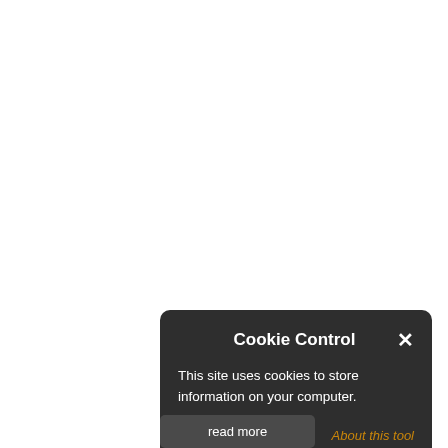[Figure (screenshot): Cookie Control popup dialog with dark background. Contains title 'Cookie Control' with an X close button, body text 'This site uses cookies to store information on your computer.', an 'About this tool' link in orange italic, and a 'read more' button below.]
Cookie Control
This site uses cookies to store information on your computer.
About this tool
read more